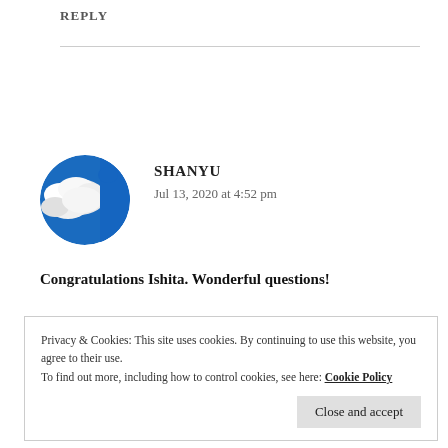REPLY
[Figure (photo): Circular avatar image showing a blue sky with white clouds]
SHANYU
Jul 13, 2020 at 4:52 pm
Congratulations Ishita. Wonderful questions!
Privacy & Cookies: This site uses cookies. By continuing to use this website, you agree to their use.
To find out more, including how to control cookies, see here: Cookie Policy
Close and accept